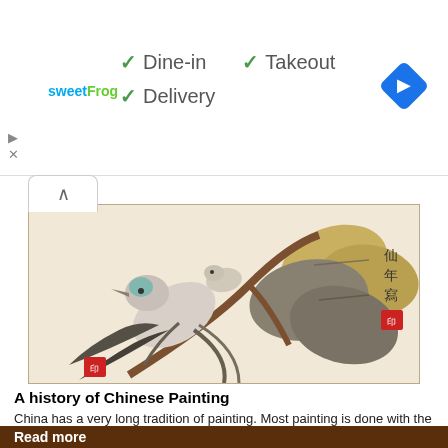[Figure (screenshot): Advertisement banner for sweetFrog showing Dine-in, Takeout, and Delivery checkmarks with a blue navigation arrow icon]
[Figure (photo): Traditional Chinese ink painting of a bird perched on a branch with large leaves, featuring Chinese calligraphy and seal stamps]
A history of Chinese Painting
China has a very long tradition of painting. Most painting is done with the same brush and ink as calligraphy. Landscapes are the most cherished but exquisite paintings of nature subjects and portraits are also well represented.
Read more